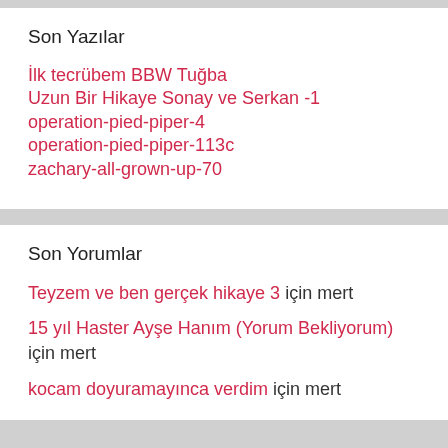Son Yazılar
İlk tecrübem BBW Tuğba
Uzun Bir Hikaye Sonay ve Serkan -1
operation-pied-piper-4
operation-pied-piper-113c
zachary-all-grown-up-70
Son Yorumlar
Teyzem ve ben gerçek hikaye 3 için mert
15 yıl Haster Ayşe Hanım (Yorum Bekliyorum) için mert
kocam doyuramayınca verdim için mert